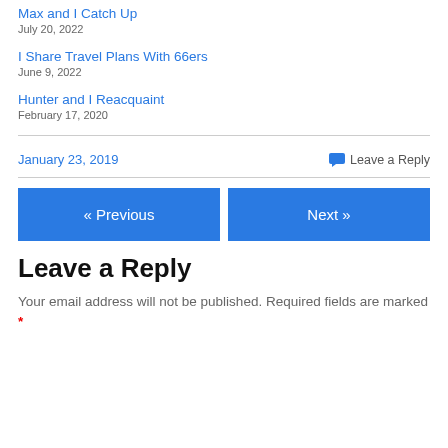Max and I Catch Up
July 20, 2022
I Share Travel Plans With 66ers
June 9, 2022
Hunter and I Reacquaint
February 17, 2020
January 23, 2019
Leave a Reply
« Previous
Next »
Leave a Reply
Your email address will not be published. Required fields are marked *